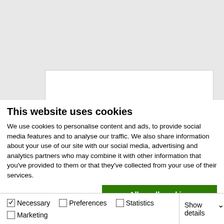[Figure (screenshot): Greyed out background showing a partial webpage with a white content box and a button element visible at the top portion of the page.]
This website uses cookies
We use cookies to personalise content and ads, to provide social media features and to analyse our traffic. We also share information about your use of our site with our social media, advertising and analytics partners who may combine it with other information that you've provided to them or that they've collected from your use of their services.
Allow all cookies
Allow selection
Use necessary cookies only
Necessary   Preferences   Statistics   Marketing   Show details